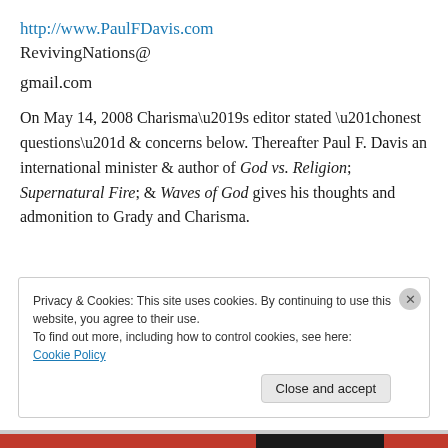http://www.PaulFDavis.com
RevivingNations@

gmail.com
On May 14, 2008 Charisma’s editor stated “honest questions” & concerns below. Thereafter Paul F. Davis an international minister & author of God vs. Religion; Supernatural Fire; & Waves of God gives his thoughts and admonition to Grady and Charisma.
Privacy & Cookies: This site uses cookies. By continuing to use this website, you agree to their use.
To find out more, including how to control cookies, see here: Cookie Policy
Close and accept